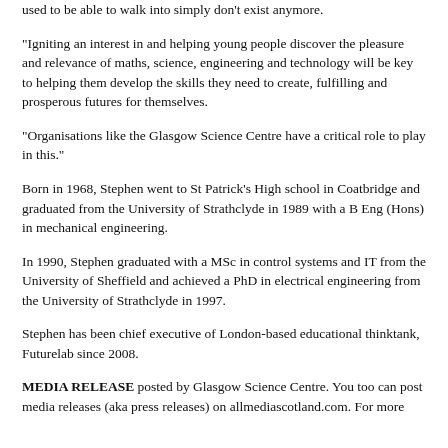used to be able to walk into simply don't exist anymore.
“Igniting an interest in and helping young people discover the pleasure and relevance of maths, science, engineering and technology will be key to helping them develop the skills they need to create, fulfilling and prosperous futures for themselves.
“Organisations like the Glasgow Science Centre have a critical role to play in this.”
Born in 1968, Stephen went to St Patrick’s High school in Coatbridge and graduated from the University of Strathclyde in 1989 with a B Eng (Hons) in mechanical engineering.
In 1990, Stephen graduated with a MSc in control systems and IT from the University of Sheffield and achieved a PhD in electrical engineering from the University of Strathclyde in 1997.
Stephen has been chief executive of London-based educational thinktank, Futurelab since 2008.
MEDIA RELEASE posted by Glasgow Science Centre. You too can post media releases (aka press releases) on allmediascotland.com. For more